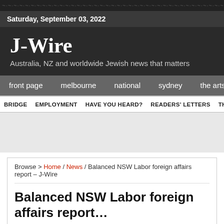Saturday, September 03, 2022
J-Wire
Australia, NZ and worldwide Jewish news that matters
front page | melbourne | national | sydney | the arts
BRIDGE | EMPLOYMENT | HAVE YOU HEARD? | READERS' LETTERS | THE ARTS | CONT...
Browse > Home / News / Balanced NSW Labor foreign affairs report – J-Wire
Balanced NSW Labor foreign affairs report
Email this story
June 8, 2018 by J-Wire Newsdesk